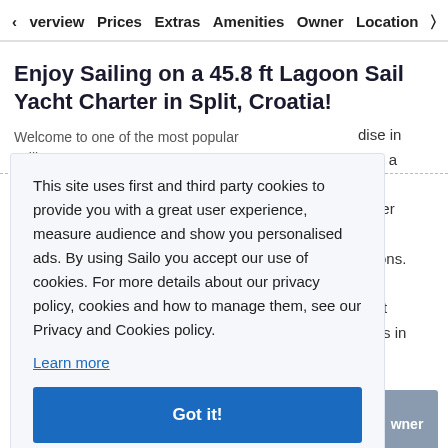Overview  Prices  Extras  Amenities  Owner  Location
Enjoy Sailing on a 45.8 ft Lagoon Sail Yacht Charter in Split, Croatia!
Welcome to one of the most popular sailing paradise in ... Croatia is a ... covering ... small lagoons. Split ... ages in ... nd ... nt a
This site uses first and third party cookies to provide you with a great user experience, measure audience and show you personalised ads. By using Sailo you accept our use of cookies. For more details about our privacy policy, cookies and how to manage them, see our Privacy and Cookies policy.
Learn more
Got it!